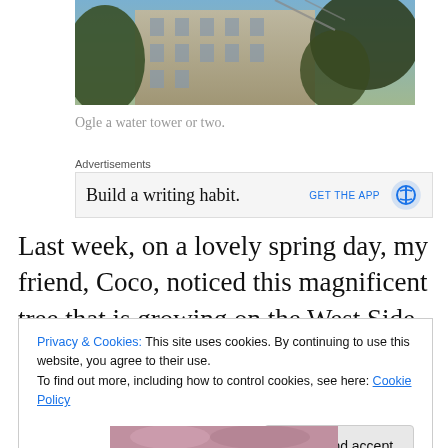[Figure (photo): Photograph of a building with trees in the foreground, visible from below looking up, blue sky in background]
Ogle a water tower or two.
Advertisements
[Figure (screenshot): Advertisement banner: 'Build a writing habit.' with 'GET THE APP' call to action and WordPress logo]
Last week, on a lovely spring day, my friend, Coco, noticed this magnificent tree that is growing on the West Side
Privacy & Cookies: This site uses cookies. By continuing to use this website, you agree to their use.
To find out more, including how to control cookies, see here: Cookie Policy
Close and accept
[Figure (photo): Partial photograph at the bottom of the page, appears to show flowers or garden scene]